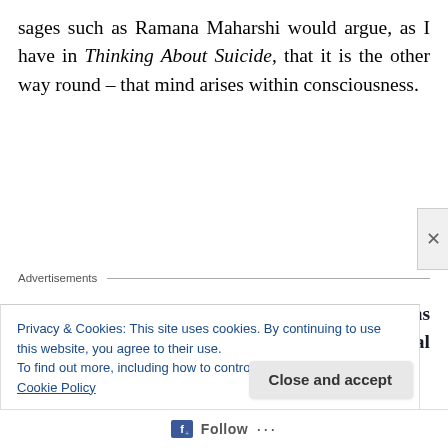sages such as Ramana Maharshi would argue, as I have in Thinking About Suicide, that it is the other way round – that mind arises within consciousness.
Advertisements
The major creative challenge in my research has been to articulate my understanding of spiritual self-enquiry as the key to my recovery from
Privacy & Cookies: This site uses cookies. By continuing to use this website, you agree to their use.
To find out more, including how to control cookies, see here: Cookie Policy
Close and accept
Follow